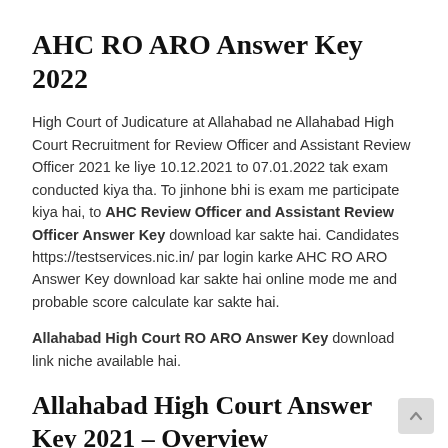AHC RO ARO Answer Key 2022
High Court of Judicature at Allahabad ne Allahabad High Court Recruitment for Review Officer and Assistant Review Officer 2021 ke liye 10.12.2021 to 07.01.2022 tak exam conducted kiya tha. To jinhone bhi is exam me participate kiya hai, to AHC Review Officer and Assistant Review Officer Answer Key download kar sakte hai. Candidates https://testservices.nic.in/ par login karke AHC RO ARO Answer Key download kar sakte hai online mode me and probable score calculate kar sakte hai.
Allahabad High Court RO ARO Answer Key download link niche available hai.
Allahabad High Court Answer Key 2021 – Overview
| Article | AHC RO ARO Answer Key 2022 |
| --- | --- |